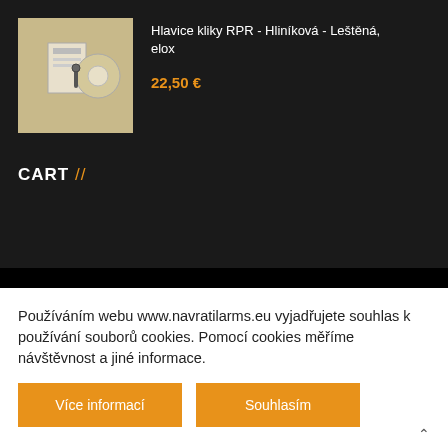[Figure (photo): Product image of Hlavice kliky RPR - Hliníková - Leštěná, elox on a beige/tan background]
Hlavice kliky RPR - Hliníková - Leštěná, elox
22,50 €
CART //
Používáním webu www.navratilarms.eu vyjadřujete souhlas k používání souborů cookies. Pomocí cookies měříme návštěvnost a jiné informace.
Více informací
Souhlasím